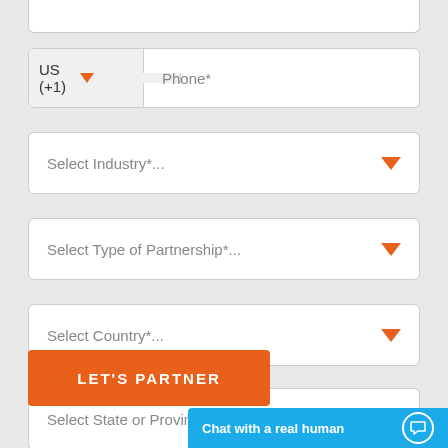US (+1)
Phone*
Select Industry*...
Select Type of Partnership*...
Select Country*...
Select State or Province*...
LET'S PARTNER
Chat with a real human